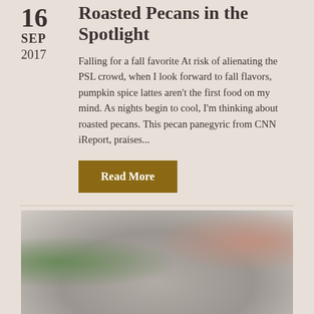Roasted Pecans in the Spotlight
16
SEP
2017
Falling for a fall favorite At risk of alienating the PSL crowd, when I look forward to fall flavors, pumpkin spice lattes aren't the first food on my mind. As nights begin to cool, I'm thinking about roasted pecans. This pecan panegyric from CNN iReport, praises...
Read More
[Figure (photo): Photo of a person wearing a light-colored hat, with green foliage visible in the background on the left and a person's profile/face visible on the right side.]